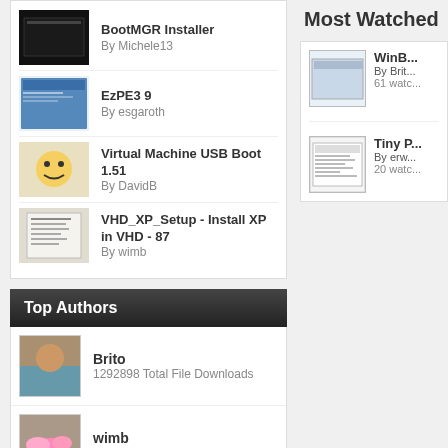BootMGR Installer
By Michele13
EzPE3 9
By esgaroth
Virtual Machine USB Boot 1.51
By DavidB
VHD_XP_Setup - Install XP in VHD - 87
By wimb
Top Authors
Brito
1292898 Total File Downloads
wimb
780341 Total File Downloads
pscEx
600808 Total File Downloads
joakim
Most Watched
WinB...
By Brit...
61 watc...
Tiny P...
By erw...
20 watc...